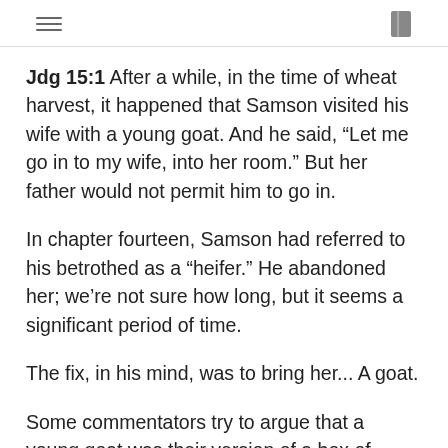[hamburger menu] [book icon]
Jdg 15:1  After a while, in the time of wheat harvest, it happened that Samson visited his wife with a young goat. And he said, “Let me go in to my wife, into her room.” But her father would not permit him to go in.
In chapter fourteen, Samson had referred to his betrothed as a “heifer.” He abandoned her; we’re not sure how long, but it seems a significant period of time.
The fix, in his mind, was to bring her... A goat.
Some commentators try to argue that a young goat was their version of a box of